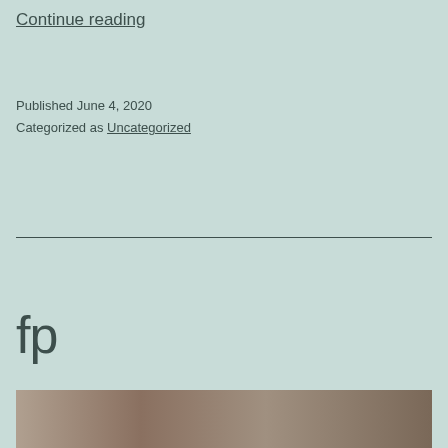Continue reading
Published June 4, 2020
Categorized as Uncategorized
fp
[Figure (photo): Partial photo strip at bottom of page showing rocky/sandy terrain]